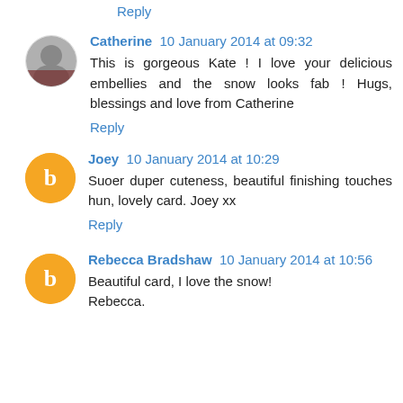Reply
Catherine  10 January 2014 at 09:32
This is gorgeous Kate ! I love your delicious embellies and the snow looks fab ! Hugs, blessings and love from Catherine
Reply
Joey  10 January 2014 at 10:29
Suoer duper cuteness, beautiful finishing touches hun, lovely card. Joey xx
Reply
Rebecca Bradshaw  10 January 2014 at 10:56
Beautiful card, I love the snow!
Rebecca.